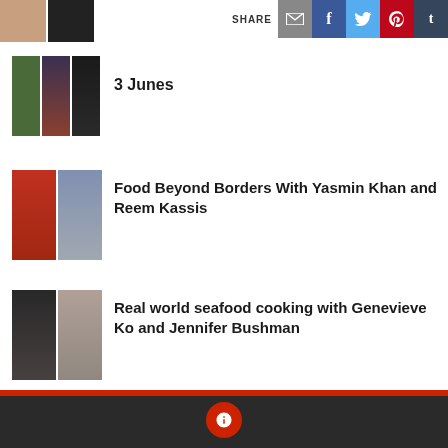[Figure (screenshot): Top photo strip with two portrait images (food/person)]
[Figure (infographic): Share bar with email, Facebook, Twitter, Pinterest, Tumblr icons]
[Figure (photo): Three-panel photo strip showing a woman in a blue headband with teal earrings and red clothing]
3 Junes
[Figure (photo): Two-panel photo strip showing two women (one in red, one in blue patterned top)]
Food Beyond Borders With Yasmin Khan and Reem Kassis
[Figure (photo): Two-panel photo strip showing two women (one with dark hair, one with brown hair)]
Real world seafood cooking with Genevieve Ko and Jennifer Bushman